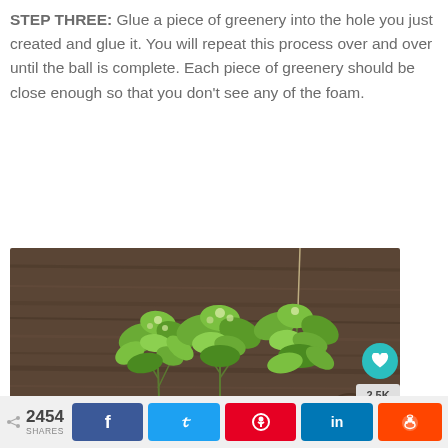STEP THREE: Glue a piece of greenery into the hole you just created and glue it. You will repeat this process over and over until the ball is complete. Each piece of greenery should be close enough so that you don't see any of the foam.
[Figure (photo): Photo of greenery sprigs laid on a wooden table surface, with a green foam ball partially visible at the bottom. A string hangs from the upper right area.]
2454 SHARES  [Facebook] [Twitter] [Pinterest] [LinkedIn] [Reddit]